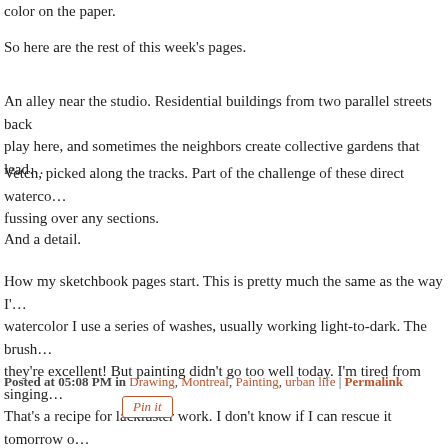color on the paper.
So here are the rest of this week's pages.
An alley near the studio. Residential buildings from two parallel streets back play here, and sometimes the neighbors create collective gardens that lead…
Vetch, picked along the tracks. Part of the challenge of these direct waterco… fussing over any sections.
And a detail.
How my sketchbook pages start. This is pretty much the same as the way I'… watercolor I use a series of washes, usually working light-to-dark. The brush… they're excellent! But painting didn't go too well today. I'm tired from singing… That's a recipe for lackluster work. I don't know if I can rescue it tomorrow o…
The tracks, looking east, in a photo that's too dark but shows the lack of uni… previous day's sketch. My studio is in the brick building at right. The blue bir…
I like some of the other pages from this week, but I think they lead me towar…
Posted at 05:08 PM in Drawing, Montreal, Painting, urban life | Permalink